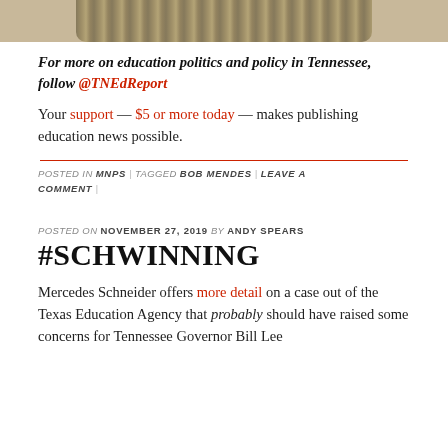[Figure (photo): Cropped top of a rolled bundle of money/cash, partially visible at the top of the page]
For more on education politics and policy in Tennessee, follow @TNEdReport
Your support — $5 or more today — makes publishing education news possible.
POSTED IN MNPS | TAGGED BOB MENDES | LEAVE A COMMENT |
POSTED ON NOVEMBER 27, 2019 BY ANDY SPEARS
#SCHWINNING
Mercedes Schneider offers more detail on a case out of the Texas Education Agency that probably should have raised some concerns for Tennessee Governor Bill Lee